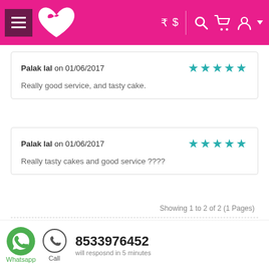[Figure (screenshot): Pink e-commerce website header with hamburger menu, heart/bird logo, currency selectors, search, cart, and user account icons]
Palak lal on 01/06/2017 — 5 stars — Really good service, and tasty cake.
Palak lal on 01/06/2017 — 5 stars — Really tasty cakes and good service ????
Showing 1 to 2 of 2 (1 Pages)
Write a review
Whatsapp | Call | 8533976452 | will resposnd in 5 minutes